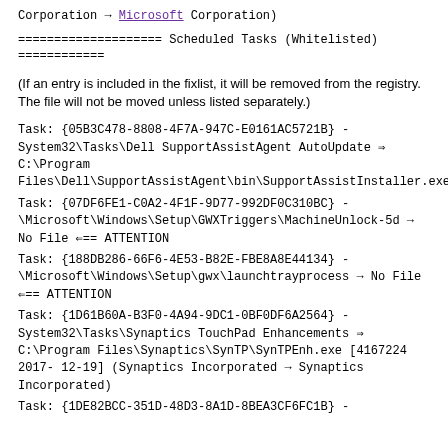Corporation → Microsoft Corporation)
==================== Scheduled Tasks (Whitelisted) ============
(If an entry is included in the fixlist, it will be removed from the registry. The file will not be moved unless listed separately.)
Task: {05B3C478-8808-4F7A-947C-E0161AC5721B} - System32\Tasks\Dell SupportAssistAgent AutoUpdate ⇒ C:\Program Files\Dell\SupportAssistAgent\bin\SupportAssistInstaller.exe
Task: {07DF6FE1-C0A2-4F1F-9D77-992DF0C310BC} - \Microsoft\Windows\Setup\GWXTriggers\MachineUnlock-5d → No File ⇐== ATTENTION
Task: {188DB286-66F6-4E53-B82E-FBE8A8E44134} - \Microsoft\Windows\Setup\gwx\launchtrayprocess → No File ⇐== ATTENTION
Task: {1D61B60A-B3F0-4A94-9DC1-0BF0DF6A2564} - System32\Tasks\Synaptics TouchPad Enhancements ⇒ C:\Program Files\Synaptics\SynTP\SynTPEnh.exe [4167224 2017-12-19] (Synaptics Incorporated → Synaptics Incorporated)
Task: {1DE82BCC-351D-48D3-8A1D-8BEA3CF6FC1B} -